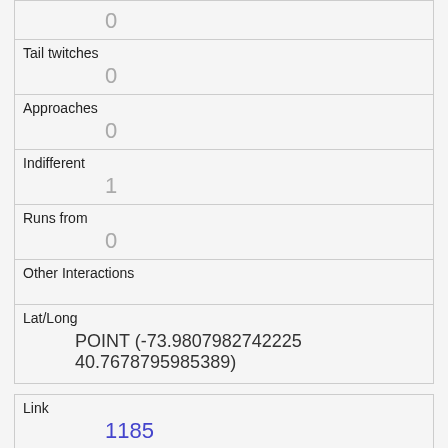| Tail twitches | 0 |
| Approaches | 0 |
| Indifferent | 1 |
| Runs from | 0 |
| Other Interactions |  |
| Lat/Long | POINT (-73.9807982742225 40.7678795985389) |
| Link | 1185 |
| rowid | 1185 |
| longitude | -73.95823067436599 |
| latitude |  |